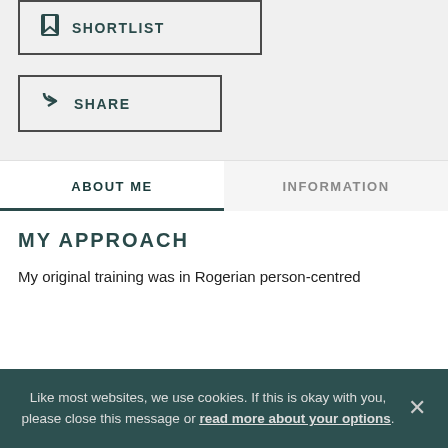☐ SHORTLIST
↪ SHARE
ABOUT ME
INFORMATION
MY APPROACH
My original training was in Rogerian person-centred
Like most websites, we use cookies. If this is okay with you, please close this message or read more about your options.